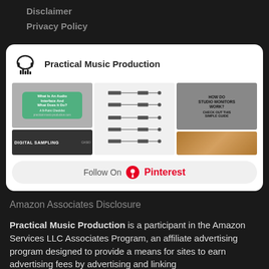Disclaimer
Privacy Policy
[Figure (screenshot): Pinterest widget for 'Practical Music Production' showing a board header with a headphone icon, a grid of three pin image columns featuring audio interface, signal diagram, and studio monitors images, plus a 'Follow On Pinterest' button at the bottom.]
Amazon Associates Disclosure
Practical Music Production is a participant in the Amazon Services LLC Associates Program, an affiliate advertising program designed to provide a means for sites to earn advertising fees by advertising and linking